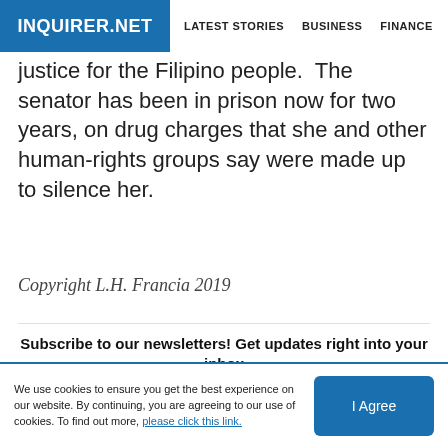INQUIRER.NET  LATEST STORIES  BUSINESS  FINANCE  TECHNOLO
justice for the Filipino people. The senator has been in prison now for two years, on drug charges that she and other human-rights groups say were made up to silence her.
Copyright L.H. Francia 2019
Subscribe to our newsletters! Get updates right into your inbox
Your e-mail address
SIGN ME UP
By providing an email address. I agree to the Terms of Use and acknowledge that I have read the Privacy Policy.
We use cookies to ensure you get the best experience on our website. By continuing, you are agreeing to our use of cookies. To find out more, please click this link.
I Agree